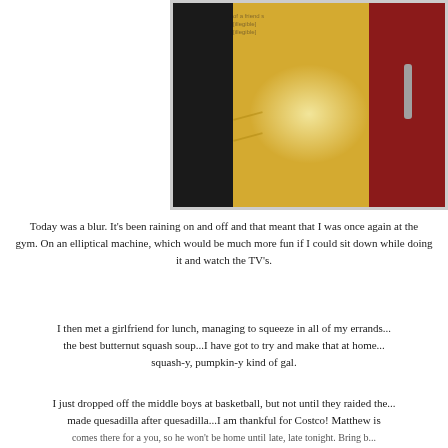[Figure (photo): Photo of three cabinet doors or panels side by side: left panel is black/dark, center panel is yellow/gold with a spiral textured pattern and some writing at top, right panel is dark red/maroon with a metal hinge visible.]
Today was a blur. It's been raining on and off and that meant that I was once again at the gym. On an elliptical machine, which would be much more fun if I could sit down while doing it and watch the TV's.
I then met a girlfriend for lunch, managing to squeeze in all of my errands...and had the best butternut squash soup...I have got to try and make that at home. I am a squash-y, pumpkin-y kind of gal.
I just dropped off the middle boys at basketball, but not until they raided the kitchen...I made quesadilla after quesadilla...I am thankful for Costco! Matthew is going to a concert there for me too, so he won't be home until late, late tonight. Bring b...